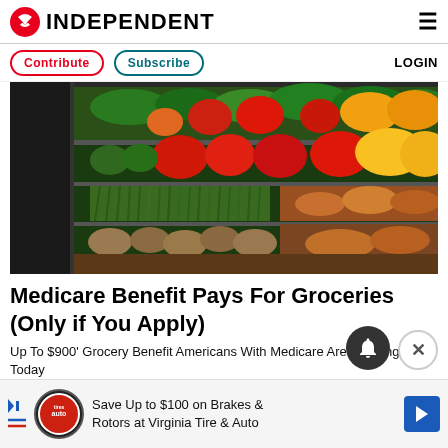INDEPENDENT
Contribute | Subscribe | LOGIN
[Figure (photo): Grocery store produce aisle with colorful vegetables and fruits on shelves including peppers, potatoes, green beans, carrots and other produce]
Medicare Benefit Pays For Groceries (Only if You Apply)
Up To $900' Grocery Benefit Americans With Medicare Are Applying For Today
QUALIFY MEDICARE | Sponsored
Save Up to $100 on Brakes & Rotors at Virginia Tire & Auto